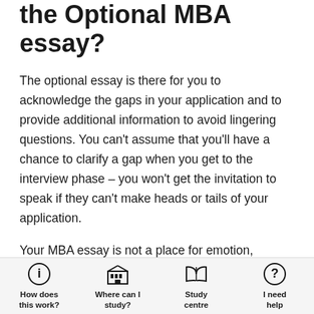the Optional MBA essay?
The optional essay is there for you to acknowledge the gaps in your application and to provide additional information to avoid lingering questions. You can't assume that you'll have a chance to clarify a gap when you get to the interview phase – you won't get the invitation to speak if they can't make heads or tails of your application.
Your MBA essay is not a place for emotion, however.
For example, if your final semester as an undergrad was marked by terrible grades that brought down your entire GPA, you want to let the admissions committee
How does this work? | Where can I study? | Study centre | I need help